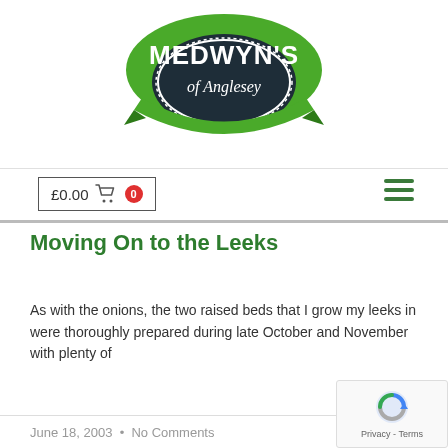[Figure (logo): Medwyn's of Anglesey green ribbon logo with dark oval center]
£0.00  0
Moving On to the Leeks
As with the onions, the two raised beds that I grow my leeks in were thoroughly prepared during late October and November with plenty of
READ MORE »
June 18, 2003  •  No Comments